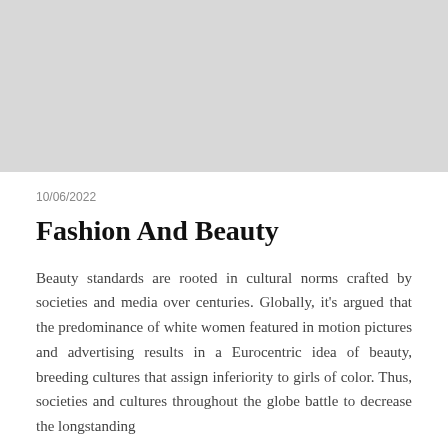[Figure (photo): Light gray rectangular image placeholder at the top of the page]
10/06/2022
Fashion And Beauty
Beauty standards are rooted in cultural norms crafted by societies and media over centuries. Globally, it's argued that the predominance of white women featured in motion pictures and advertising results in a Eurocentric idea of beauty, breeding cultures that assign inferiority to girls of color. Thus, societies and cultures throughout the globe battle to decrease the longstanding